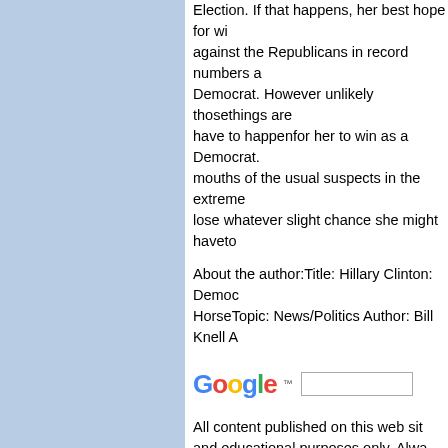Election. If that happens, her best hope for wi... against the Republicans in record numbers a... Democrat. However unlikely thosethings are ... have to happenfor her to win as a Democrat. ... mouths of the usual suspects in the extreme ... lose whatever slight chance she might haveto...
About the author:Title: Hillary Clinton: Democ... HorseTopic: News/Politics Author: Bill Knell A...
[Figure (logo): Google logo with search input box]
All content published on this web sit... and educational purposes only. Alwa... before making any decisions.
We use third-party advertising companies to ... These companies may use information (not i... address, or telephone number) about your vi... provide advertisements about goods and ser... more information about this practice and to k... information used by these companies, click h...